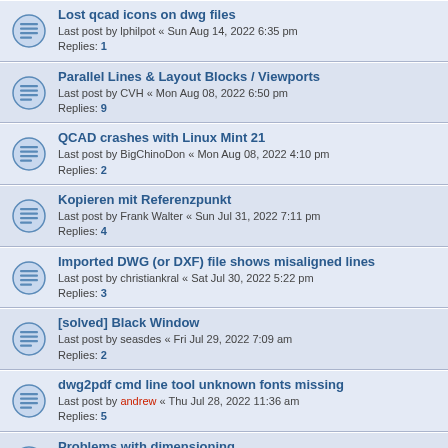Lost qcad icons on dwg files
Last post by lphilpot « Sun Aug 14, 2022 6:35 pm
Replies: 1
Parallel Lines & Layout Blocks / Viewports
Last post by CVH « Mon Aug 08, 2022 6:50 pm
Replies: 9
QCAD crashes with Linux Mint 21
Last post by BigChinoDon « Mon Aug 08, 2022 4:10 pm
Replies: 2
Kopieren mit Referenzpunkt
Last post by Frank Walter « Sun Jul 31, 2022 7:11 pm
Replies: 4
Imported DWG (or DXF) file shows misaligned lines
Last post by christiankral « Sat Jul 30, 2022 5:22 pm
Replies: 3
[solved] Black Window
Last post by seasdes « Fri Jul 29, 2022 7:09 am
Replies: 2
dwg2pdf cmd line tool unknown fonts missing
Last post by andrew « Thu Jul 28, 2022 11:36 am
Replies: 5
Problems with dimensioning
Last post by andrew « Mon Jul 25, 2022 4:12 pm
Replies: 2
Mouse cursor offset / not visible
Last post by andrew « Mon Jul 18, 2022 1:56 pm
Replies: 1
printing